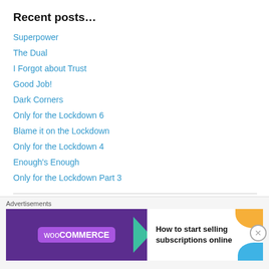Recent posts…
Superpower
The Dual
I Forgot about Trust
Good Job!
Dark Corners
Only for the Lockdown 6
Blame it on the Lockdown
Only for the Lockdown 4
Enough's Enough
Only for the Lockdown Part 3
Archives
Select Month
[Figure (infographic): WooCommerce advertisement banner: purple background with WooCommerce logo on left, green arrow shape, white right panel with text 'How to start selling subscriptions online', orange and blue decorative shapes]